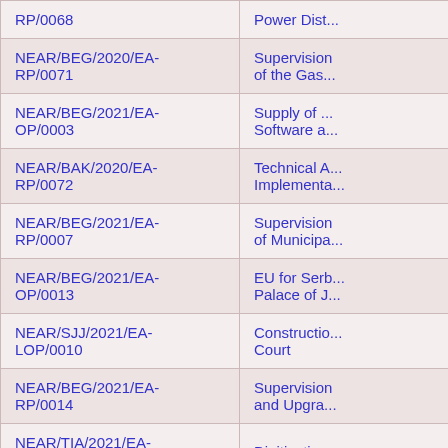| Reference | Description |
| --- | --- |
| RP/0068 | Power Dist... |
| NEAR/BEG/2020/EA-RP/0071 | Supervision of the Gas... |
| NEAR/BEG/2021/EA-OP/0003 | Supply of ... Software a... |
| NEAR/BAK/2020/EA-RP/0072 | Technical A... Implementa... |
| NEAR/BEG/2021/EA-RP/0007 | Supervision of Municipa... |
| NEAR/BEG/2021/EA-OP/0013 | EU for Serb... Palace of J... |
| NEAR/SJJ/2021/EA-LOP/0010 | Constructio... Court |
| NEAR/BEG/2021/EA-RP/0014 | Supervision and Upgra... |
| NEAR/TIA/2021/EA-RP/0015 | Digitisation... |
|  | Expertis... |